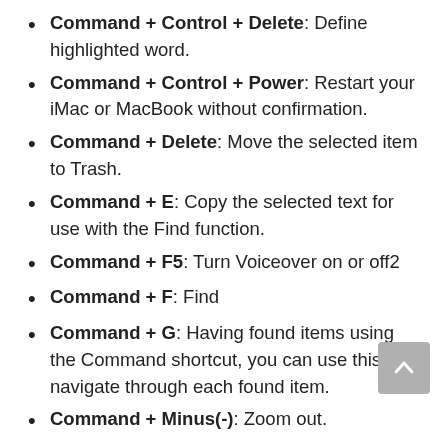Command + Control + Delete: Define highlighted word.
Command + Control + Power: Restart your iMac or MacBook without confirmation.
Command + Delete: Move the selected item to Trash.
Command + E: Copy the selected text for use with the Find function.
Command + F5: Turn Voiceover on or off2
Command + F: Find
Command + G: Having found items using the Command shortcut, you can use this to navigate through each found item.
Command + Minus(-): Zoom out.
Command + Option + Space: Open Spotlight Finder Search Window.
Command + Spacebar: Show/hide the